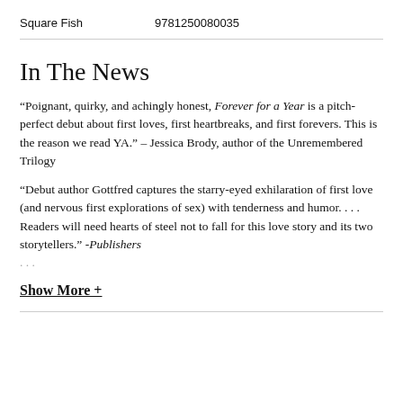Square Fish    9781250080035
In The News
“Poignant, quirky, and achingly honest, Forever for a Year is a pitch-perfect debut about first loves, first heartbreaks, and first forevers. This is the reason we read YA.” – Jessica Brody, author of the Unremembered Trilogy
“Debut author Gottfred captures the starry-eyed exhilaration of first love (and nervous first explorations of sex) with tenderness and humor. . . . Readers will need hearts of steel not to fall for this love story and its two storytellers.” -Publishers . . .
Show More +